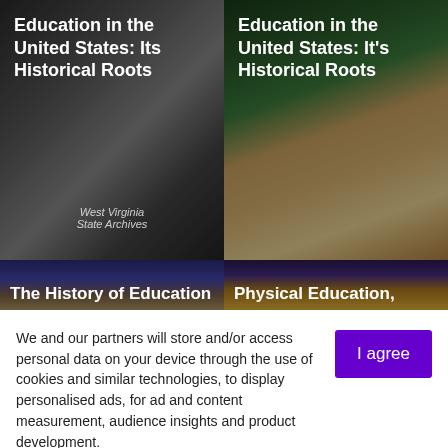[Figure (photo): Black and white photo of a historical US classroom with children at desks and a teacher standing, with text overlay 'Education in the United States: Its Historical Roots' and watermark 'West Virginia State Archives']
[Figure (photo): Color photo of stacked books with an apple on top and a globe, classroom chalkboard in background, with text overlay 'Education in the United States: It's Historical Roots']
[Figure (photo): Dark photo with text overlay 'The History of Education']
[Figure (photo): Dark photo with text overlay 'Physical Education,']
We and our partners will store and/or access personal data on your device through the use of cookies and similar technologies, to display personalised ads, for ad and content measurement, audience insights and product development.
By clicking 'I agree,' you consent to this, or you can manage your preferences.